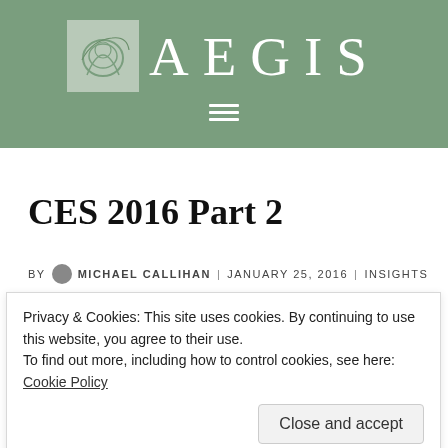AEGIS
CES 2016 Part 2
BY MICHAEL CALLIHAN | JANUARY 25, 2016 | INSIGHTS
Privacy & Cookies: This site uses cookies. By continuing to use this website, you agree to their use. To find out more, including how to control cookies, see here: Cookie Policy
just before the big show. The obvious reaction one has